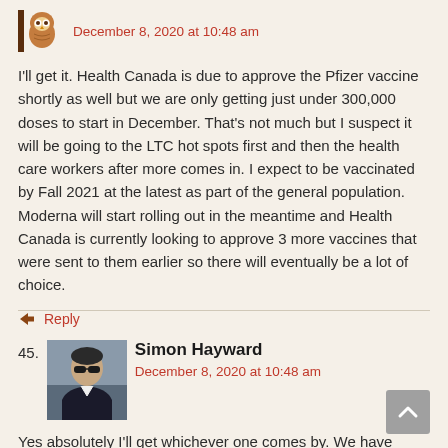December 8, 2020 at 10:48 am
I'll get it. Health Canada is due to approve the Pfizer vaccine shortly as well but we are only getting just under 300,000 doses to start in December. That's not much but I suspect it will be going to the LTC hot spots first and then the health care workers after more comes in. I expect to be vaccinated by Fall 2021 at the latest as part of the general population. Moderna will start rolling out in the meantime and Health Canada is currently looking to approve 3 more vaccines that were sent to them earlier so there will eventually be a lot of choice.
Reply
45.
Simon Hayward
December 8, 2020 at 10:48 am
Yes absolutely I'll get whichever one comes by. We have received a broad plan of action from work on how this will